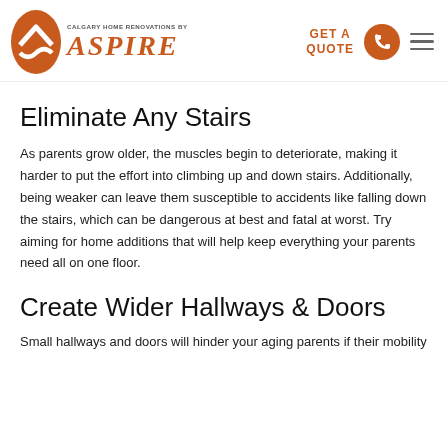CALGARY HOME RENOVATIONS BY ASPIRE | GET A QUOTE
Eliminate Any Stairs
As parents grow older, the muscles begin to deteriorate, making it harder to put the effort into climbing up and down stairs. Additionally, being weaker can leave them susceptible to accidents like falling down the stairs, which can be dangerous at best and fatal at worst. Try aiming for home additions that will help keep everything your parents need all on one floor.
Create Wider Hallways & Doors
Small hallways and doors will hinder your aging parents if their mobility